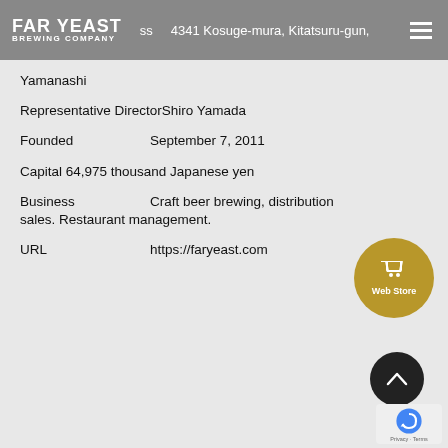FAR YEAST BREWING COMPANY | Address 4341 Kosuge-mura, Kitatsuru-gun, Yamanashi
Address    4341 Kosuge-mura, Kitatsuru-gun, Yamanashi
Representative Director    Shiro Yamada
Founded    September 7, 2011
Capital    64,975 thousand Japanese yen
Business    Craft beer brewing, distribution sales. Restaurant management.
URL    https://faryeast.com